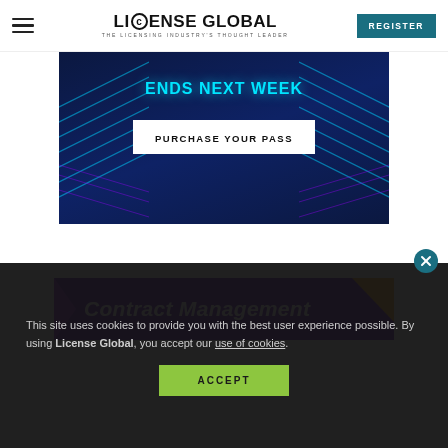License Global — THE LICENSING INDUSTRY'S THOUGHT LEADER | REGISTER
[Figure (screenshot): Advertisement banner with dark blue background, teal diagonal lines on sides, text 'ENDS NEXT WEEK' in cyan, and white button 'PURCHASE YOUR PASS']
[Figure (screenshot): Advertisement banner for 'Contract Management' with purple background, purple arrow shape on left, italic white text, and orange triangle in top-right corner]
This site uses cookies to provide you with the best user experience possible. By using License Global, you accept our use of cookies.
ACCEPT